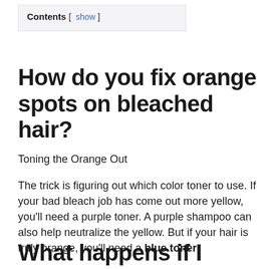Contents [ show ]
How do you fix orange spots on bleached hair?
Toning the Orange Out
The trick is figuring out which color toner to use. If your bad bleach job has come out more yellow, you'll need a purple toner. A purple shampoo can also help neutralize the yellow. But if your hair is truly orange, you'll need a blue toner.
What happens if I bleach my already bleached hair?